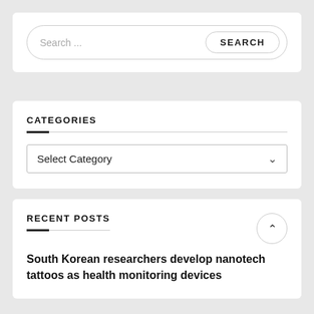[Figure (screenshot): Search bar with pill-shaped border containing placeholder text 'Search ...' and a 'SEARCH' button on the right]
CATEGORIES
[Figure (screenshot): Dropdown select box labeled 'Select Category' with a chevron down arrow]
RECENT POSTS
South Korean researchers develop nanotech tattoos as health monitoring devices